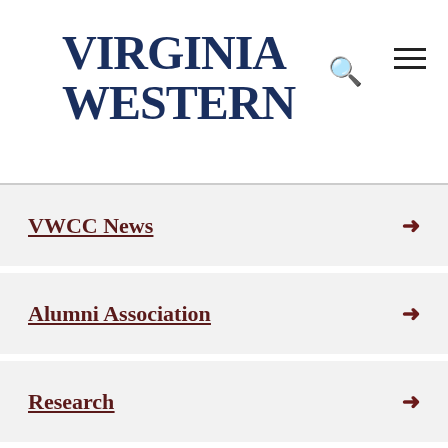Virginia Western
VWCC News
Alumni Association
Research
Educational Foundation
Initiatives
Strategic Planning